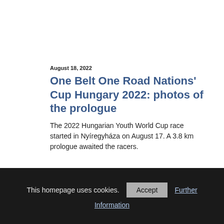August 18, 2022
One Belt One Road Nations' Cup Hungary 2022: photos of the prologue
The 2022 Hungarian Youth World Cup race started in Nyíregyháza on August 17. A 3.8 km prologue awaited the racers.
This homepage uses cookies. Accept Further Information